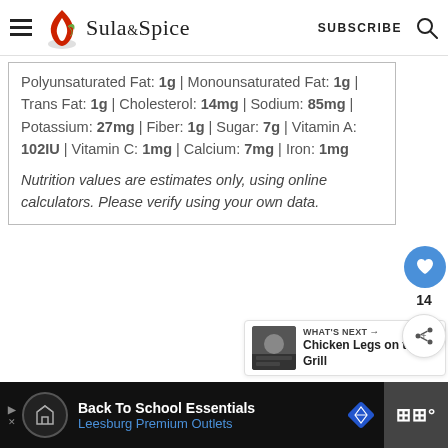Sula and Spice — SUBSCRIBE
Polyunsaturated Fat: 1g | Monounsaturated Fat: 1g | Trans Fat: 1g | Cholesterol: 14mg | Sodium: 85mg | Potassium: 27mg | Fiber: 1g | Sugar: 7g | Vitamin A: 102IU | Vitamin C: 1mg | Calcium: 7mg | Iron: 1mg
Nutrition values are estimates only, using online calculators. Please verify using your own data.
WHAT'S NEXT → Chicken Legs on the Grill
Back To School Essentials Leesburg Premium Outlets